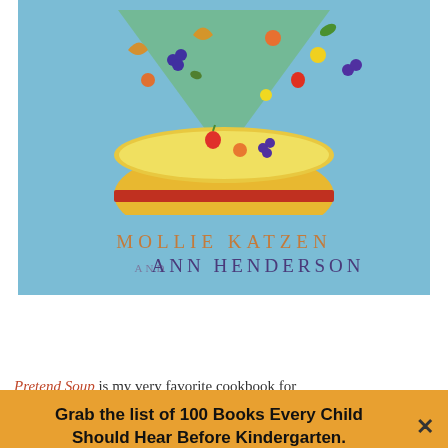[Figure (illustration): Book cover of 'Pretend Soup' showing a colorful illustrated bowl with fruits and vegetables falling in, set against a blue background. Authors listed as MOLLIE KATZEN AND ANN HENDERSON.]
Pretend Soup is my very favorite cookbook for
Grab the list of 100 Books Every Child Should Hear Before Kindergarten.